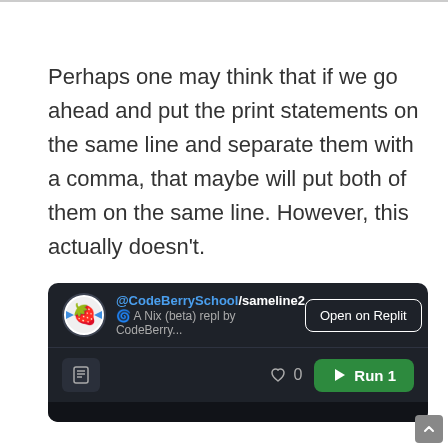Perhaps one may think that if we go ahead and put the print statements on the same line and separate them with a comma, that maybe will put both of them on the same line. However, this actually doesn't.
[Figure (screenshot): Replit embed widget showing @CodeBerrySchool/sameline2 project, A Nix (beta) repl by CodeBerry..., with Open on Replit button, toolbar icons, heart/0 likes, and green Run 1 button]